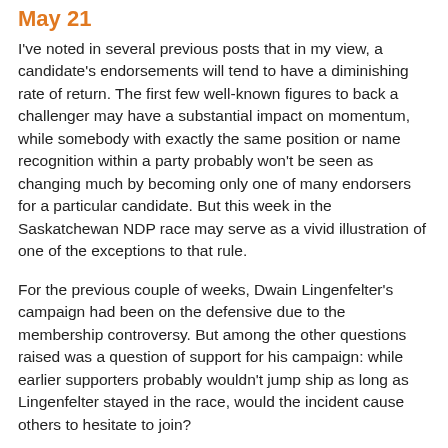May 21
I've noted in several previous posts that in my view, a candidate's endorsements will tend to have a diminishing rate of return. The first few well-known figures to back a challenger may have a substantial impact on momentum, while somebody with exactly the same position or name recognition within a party probably won't be seen as changing much by becoming only one of many endorsers for a particular candidate. But this week in the Saskatchewan NDP race may serve as a vivid illustration of one of the exceptions to that rule.
For the previous couple of weeks, Dwain Lingenfelter's campaign had been on the defensive due to the membership controversy. But among the other questions raised was a question of support for his campaign: while earlier supporters probably wouldn't jump ship as long as Lingenfelter stayed in the race, would the incident cause others to hesitate to join?
Based on Lingenfelter's new endorsements this week, including MLA Sandra Morin, former MLA Doreen Hamilton, former MP Lou...